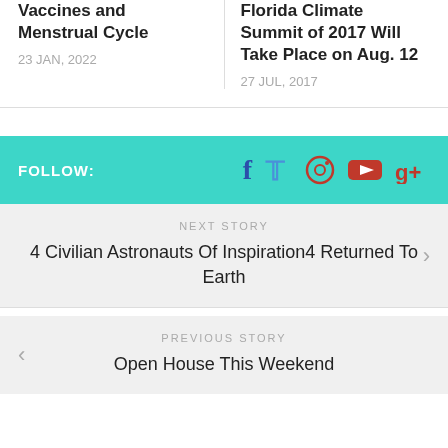Vaccines and Menstrual Cycle
23 JAN, 2022
Florida Climate Summit of 2017 Will Take Place on Aug. 12
27 JUL, 2017
FOLLOW:
NEXT STORY
4 Civilian Astronauts Of Inspiration4 Returned To Earth
PREVIOUS STORY
Open House This Weekend